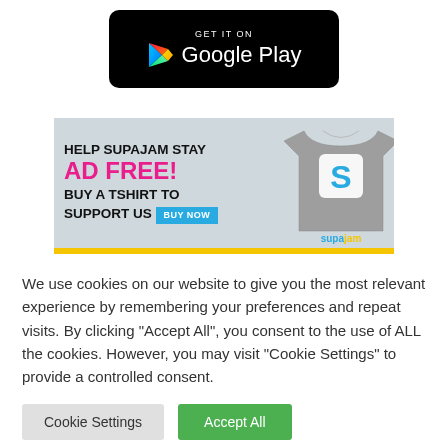[Figure (logo): Google Play badge - black rounded rectangle with GET IT ON text and Google Play logo with colorful play triangle icon]
[Figure (infographic): SupaJam ad banner: Help SupaJam Stay AD FREE! Buy a tshirt to support us. BUY NOW button. Shows a grey t-shirt with SupaJam logo. Light blue-grey background with yellow bottom bar.]
We use cookies on our website to give you the most relevant experience by remembering your preferences and repeat visits. By clicking "Accept All", you consent to the use of ALL the cookies. However, you may visit "Cookie Settings" to provide a controlled consent.
Cookie Settings
Accept All